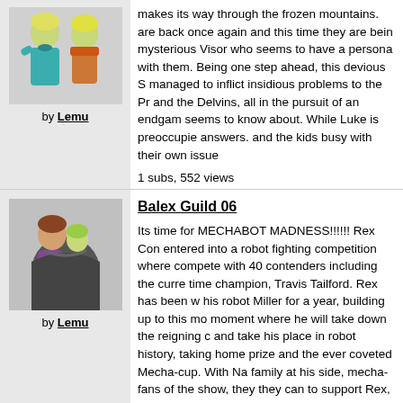[Figure (illustration): Illustration of two characters: a woman in teal and a person in orange/brown, side by side]
by Lemy
makes its way through the frozen mountains. are back once again and this time they are being mysterious Visor who seems to have a persona with them. Being one step ahead, this devious S managed to inflict insidious problems to the Pr and the Delvins, all in the pursuit of an endgam seems to know about. While Luke is preoccupied answers. and the kids busy with their own issue
1 subs, 552 views
[Figure (illustration): Illustration of two characters: a person with brown hair and a smaller character with green hair, wrapped together]
by Lemy
Balex Guild 06
Its time for MECHABOT MADNESS!!!!!! Rex Con entered into a robot fighting competition where compete with 40 contenders including the curre time champion, Travis Tailford. Rex has been w his robot Miller for a year, building up to this mo moment where he will take down the reigning c and take his place in robot history, taking home prize and the ever coveted Mecha-cup. With Na family at his side, mecha-fans of the show, they they can to support Rex, cheer him on and help whatever they can. But under all that excitemen looming plot from Birthright. A plot so insidious
1 subs, 203 views